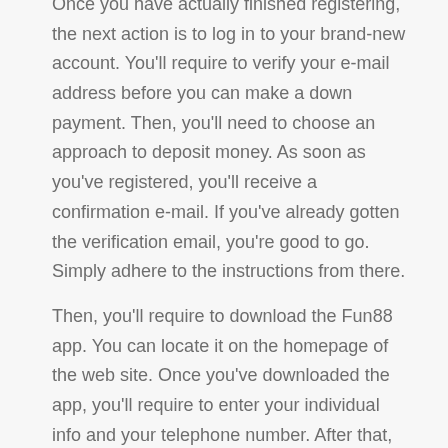Once you have actually finished registering, the next action is to log in to your brand-new account. You'll require to verify your e-mail address before you can make a down payment. Then, you'll need to choose an approach to deposit money. As soon as you've registered, you'll receive a confirmation e-mail. If you've already gotten the verification email, you're good to go. Simply adhere to the instructions from there.
Then, you'll require to download the Fun88 app. You can locate it on the homepage of the web site. Once you've downloaded the app, you'll require to enter your individual info and your telephone number. After that, you'll need to make your deposit. Relying on just how much money you want to deposit, the minimum amount is Rs300. If you're